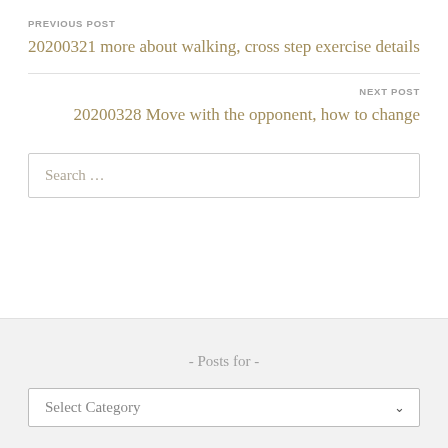PREVIOUS POST
20200321 more about walking, cross step exercise details
NEXT POST
20200328 Move with the opponent, how to change
Search …
- Posts for -
Select Category